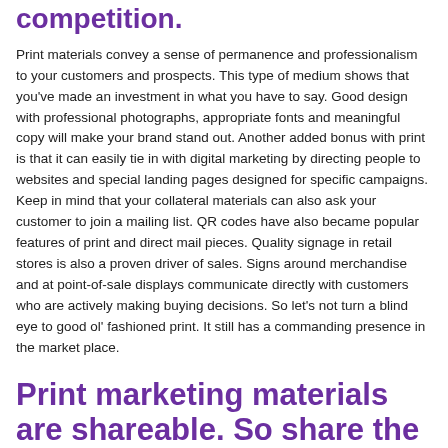competition.
Print materials convey a sense of permanence and professionalism to your customers and prospects. This type of medium shows that you've made an investment in what you have to say. Good design with professional photographs, appropriate fonts and meaningful copy will make your brand stand out. Another added bonus with print is that it can easily tie in with digital marketing by directing people to websites and special landing pages designed for specific campaigns. Keep in mind that your collateral materials can also ask your customer to join a mailing list. QR codes have also became popular features of print and direct mail pieces. Quality signage in retail stores is also a proven driver of sales. Signs around merchandise and at point-of-sale displays communicate directly with customers who are actively making buying decisions. So let's not turn a blind eye to good ol' fashioned print. It still has a commanding presence in the market place.
Print marketing materials are shareable. So share the